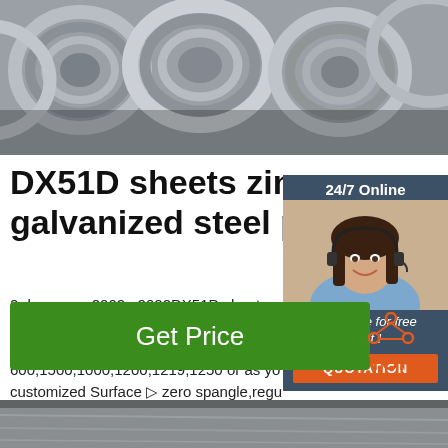[Figure (photo): Steel wire coils/rods bundled together, grey metallic color, top banner image]
DX51D sheets zinc coated galvanized steel plate
2 days agou2002·u2002DX51D sheets zinc coated galvanized steel plate. Price: $85 Thickness ▷ 0.13mm-6mm. Width(mm) ▷ 600,1500,1000,1200,1219,1250 or as you customized Surface ▷ zero spangle,regular spangle or normal spangle. Samples ▷ A... Standard: ASTM, AISI, DIN, GB
[Figure (photo): Online support person - woman with headset smiling, 24/7 Online chat panel with quotation button]
[Figure (other): Green Get Price button]
[Figure (logo): TOP logo with orange triangle dots above text]
[Figure (photo): Partial bottom image of steel/industrial material]